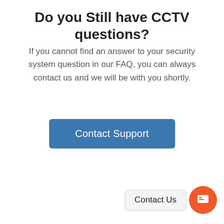Do you Still have CCTV questions?
If you cannot find an answer to your security system question in our FAQ, you can always contact us and we will be with you shortly.
[Figure (other): Blue rectangular button labeled 'Contact Support']
[Figure (other): Chat widget with 'Contact Us' label and orange circular chat icon]